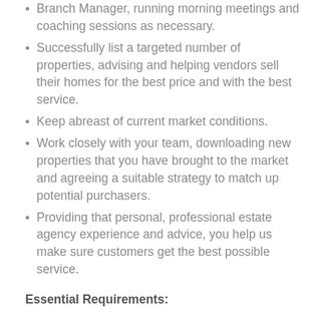Branch Manager, running morning meetings and coaching sessions as necessary.
Successfully list a targeted number of properties, advising and helping vendors sell their homes for the best price and with the best service.
Keep abreast of current market conditions.
Work closely with your team, downloading new properties that you have brought to the market and agreeing a suitable strategy to match up potential purchasers.
Providing that personal, professional estate agency experience and advice, you help us make sure customers get the best possible service.
Essential Requirements:
An ability to build great relationships where customers really buy in to you as